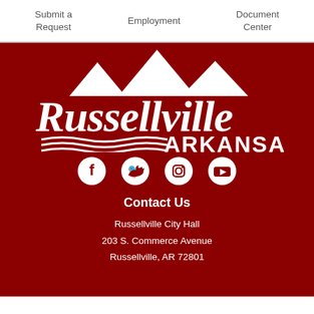Submit a Request   Employment   Document Center
[Figure (logo): Russellville Arkansas city logo with white mountains silhouette above stylized text 'Russellville' and 'ARKANSAS' with wave design, on dark red background]
[Figure (infographic): Social media icons: Facebook, Twitter, Instagram, YouTube in white on dark red background]
Contact Us
Russellville City Hall
203 S. Commerce Avenue
Russellville, AR 72801